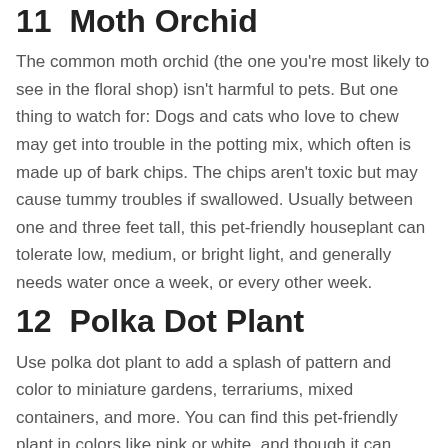11  Moth Orchid
The common moth orchid (the one you're most likely to see in the floral shop) isn't harmful to pets. But one thing to watch for: Dogs and cats who love to chew may get into trouble in the potting mix, which often is made up of bark chips. The chips aren't toxic but may cause tummy troubles if swallowed. Usually between one and three feet tall, this pet-friendly houseplant can tolerate low, medium, or bright light, and generally needs water once a week, or every other week.
12  Polka Dot Plant
Use polka dot plant to add a splash of pattern and color to miniature gardens, terrariums, mixed containers, and more. You can find this pet-friendly plant in colors like pink or white, and though it can grow up to three feet tall, it usually stays on the small side (under 12 inches) in containers. Place it in a spot that gets bright, indirect light and keep the